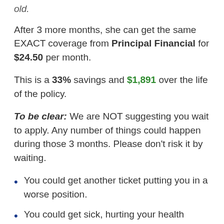old.
After 3 more months, she can get the same EXACT coverage from Principal Financial for $24.50 per month.
This is a 33% savings and $1,891 over the life of the policy.
To be clear: We are NOT suggesting you wait to apply. Any number of things could happen during those 3 months. Please don't risk it by waiting.
You could get another ticket putting you in a worse position.
You could get sick, hurting your health rating.
You could get sick, hurting your health rating.